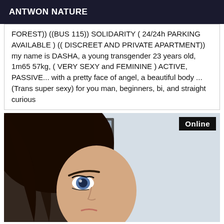ANTWON NATURE
FOREST)) ((BUS 115)) SOLIDARITY ( 24/24h PARKING AVAILABLE ) (( DISCREET AND PRIVATE APARTMENT)) my name is DASHA, a young transgender 23 years old, 1m65 57kg, ( VERY SEXY and FEMININE ) ACTIVE, PASSIVE... with a pretty face of angel, a beautiful body ... (Trans super sexy) for you man, beginners, bi, and straight curious
[Figure (photo): Close-up photo of a young person with dark hair and blue eyes looking into a mirror, with a framed picture visible in the background. An 'Online' badge appears in the top-right corner.]